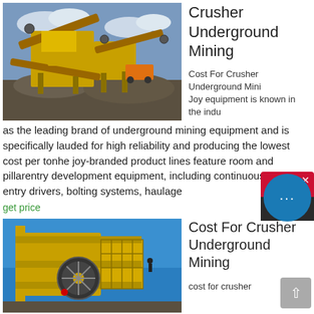[Figure (photo): Yellow industrial crusher/mining equipment outdoors with conveyor belts and large gravel piles, cloudy sky background]
Crusher Underground Mining
Cost For Crusher Underground Mining Joy equipment is known in the industry as the leading brand of underground mining equipment and is specifically lauded for high reliability and producing the lowest cost per tonhe joy-branded product lines feature room and pillarentry development equipment, including continuous miners, entry drivers, bolting systems, haulage
get price
[Figure (photo): Yellow jaw crusher / mining machine against blue sky background]
Cost For Crusher Underground Mining
cost for crusher